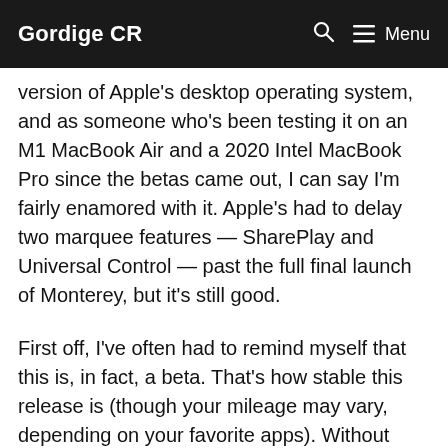Gordige CR   🔍   ☰ Menu
version of Apple's desktop operating system, and as someone who's been testing it on an M1 MacBook Air and a 2020 Intel MacBook Pro since the betas came out, I can say I'm fairly enamored with it. Apple's had to delay two marquee features — SharePlay and Universal Control — past the full final launch of Monterey, but it's still good.
First off, I've often had to remind myself that this is, in fact, a beta. That's how stable this release is (though your mileage may vary, depending on your favorite apps). Without those two major features, Apple's admittedly got fewer big reasons to make you download it. But, that said,